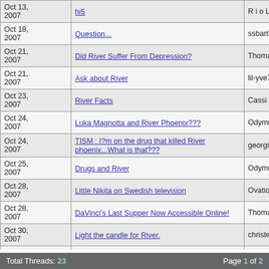| Date | Title | Author |
| --- | --- | --- |
| Oct 13, 2007 | hi5 | RioLove |
| Oct 18, 2007 | Question... | ssbarth |
| Oct 21, 2007 | Did River Suffer From Depression? | Thomas |
| Oct 21, 2007 | Ask about River | lil-yve76 |
| Oct 23, 2007 | River Facts | Cassi |
| Oct 24, 2007 | Luka Magnotta and River Phoenix??? | Odymull |
| Oct 24, 2007 | TISM : I?m on the drug that killed River phoenix...What is that??? | georgie |
| Oct 25, 2007 | Drugs and River | Odymull |
| Oct 28, 2007 | Little Nikita on Swedish television | Ovation US L |
| Oct 28, 2007 | DaVinci's Last Supper Now Accessible Online! | Thomas |
| Oct 30, 2007 | Light the candle for River. | christellepho |
| Oct 30, 2007 | Edward & co, Viper room | in_rio |
| Oct 31, 2007 | River Phoenix 1970-1993 | Jennie |
| Oct 31, 2007 | time flies | arizonaphoer |
Total Threads: 23    Page 1 of 2